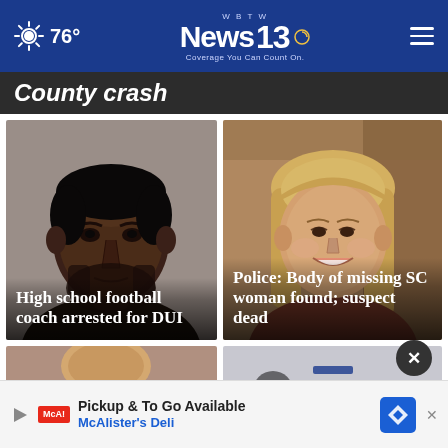76° | WBTW News 13 - Coverage You Can Count On.
County crash
[Figure (photo): Mugshot of a Black man with short hair and beard, against a gray background]
High school football coach arrested for DUI
[Figure (photo): Smiling blonde woman in a floral setting]
Police: Body of missing SC woman found; suspect dead
[Figure (photo): Partial view of a person, bottom cards row left]
[Figure (photo): Partial view of signage, bottom cards row right]
Pickup & To Go Available McAlister's Deli